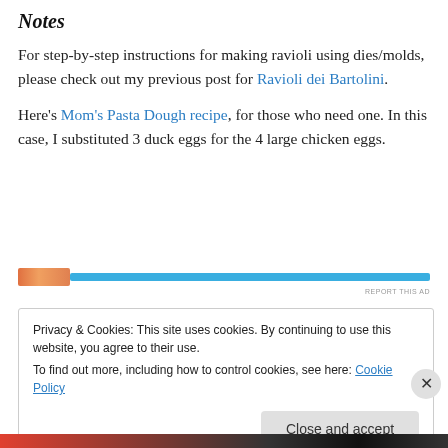Notes
For step-by-step instructions for making ravioli using dies/molds, please check out my previous post for Ravioli dei Bartolini.
Here’s Mom’s Pasta Dough recipe, for those who need one. In this case, I substituted 3 duck eggs for the 4 large chicken eggs.
[Figure (other): Advertisement banner with thumbnail image and blue bar, with REPORT THIS AD label]
Privacy & Cookies: This site uses cookies. By continuing to use this website, you agree to their use.
To find out more, including how to control cookies, see here: Cookie Policy